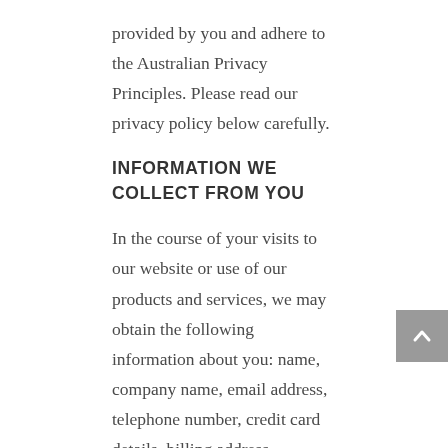provided by you and adhere to the Australian Privacy Principles. Please read our privacy policy below carefully.
INFORMATION WE COLLECT FROM YOU
In the course of your visits to our website or use of our products and services, we may obtain the following information about you: name, company name, email address, telephone number, credit card details, billing address, geographic location, IP address, survey responses, support queries, blog comments and social media handles (together 'Personal Data').
Our services are not directed to persons under 18 and we do not knowingly collect Personal Data from anyone under 18. If we become aware that a child